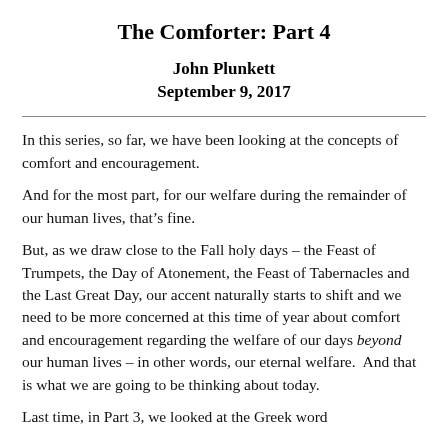The Comforter: Part 4
John Plunkett
September 9, 2017
In this series, so far, we have been looking at the concepts of comfort and encouragement.
And for the most part, for our welfare during the remainder of our human lives, that’s fine.
But, as we draw close to the Fall holy days – the Feast of Trumpets, the Day of Atonement, the Feast of Tabernacles and the Last Great Day, our accent naturally starts to shift and we need to be more concerned at this time of year about comfort and encouragement regarding the welfare of our days beyond our human lives – in other words, our eternal welfare.  And that is what we are going to be thinking about today.
Last time, in Part 3, we looked at the Greek word